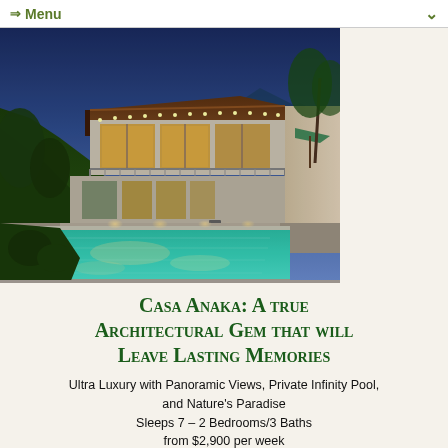⇒ Menu
[Figure (photo): Luxury villa at night with illuminated infinity pool in the foreground, two-story modern tropical architecture with large glass windows and warm interior lighting, surrounded by tropical vegetation, dusk/evening sky in background.]
Casa Anaka: A true Architectural Gem that will Leave Lasting Memories
Ultra Luxury with Panoramic Views, Private Infinity Pool, and Nature's Paradise
Sleeps 7 – 2 Bedrooms/3 Baths
from $2,900 per week
You won't want to leave!